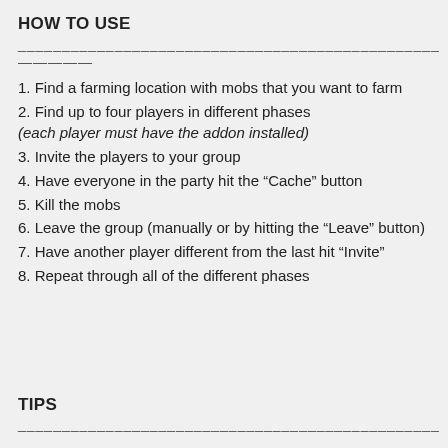HOW TO USE
————————————————————————————————————————
————
1. Find a farming location with mobs that you want to farm
2. Find up to four players in different phases (each player must have the addon installed)
3. Invite the players to your group
4. Have everyone in the party hit the “Cache” button
5. Kill the mobs
6. Leave the group (manually or by hitting the “Leave” button)
7. Have another player different from the last hit “Invite”
8. Repeat through all of the different phases
TIPS
————————————————————————————————————————